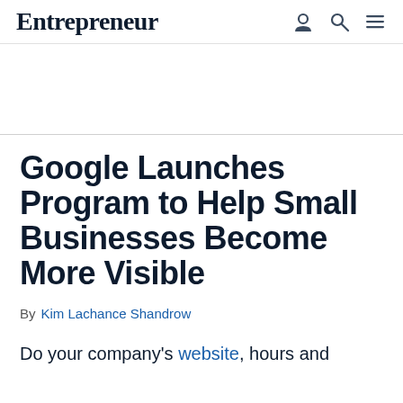Entrepreneur
Google Launches Program to Help Small Businesses Become More Visible
By Kim Lachance Shandrow
Do your company's website, hours and